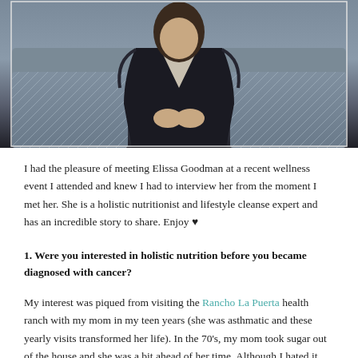[Figure (photo): A person in a dark blazer and dark pants seated on a grey sofa with patterned cushions on either side, hands clasped, photographed from slightly above.]
I had the pleasure of meeting Elissa Goodman at a recent wellness event I attended and knew I had to interview her from the moment I met her. She is a holistic nutritionist and lifestyle cleanse expert and has an incredible story to share. Enjoy ♥
1. Were you interested in holistic nutrition before you became diagnosed with cancer?
My interest was piqued from visiting the Rancho La Puerta health ranch with my mom in my teen years (she was asthmatic and these yearly visits transformed her life). In the 70's, my mom took sugar out of the house and she was a bit ahead of her time. Although I hated it, these things certainly stuck with me.